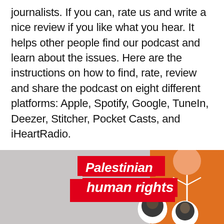journalists. If you can, rate us and write a nice review if you like what you hear. It helps other people find our podcast and learn about the issues. Here are the instructions on how to find, rate, review and share the podcast on eight different platforms: Apple, Spotify, Google, TuneIn, Deezer, Stitcher, Pocket Casts, and iHeartRadio.
CONTINUE READING
[Figure (photo): Bottom section showing a partial image with red overlay text reading 'Palestinian human rights' and two people visible, one wearing an orange jacket]